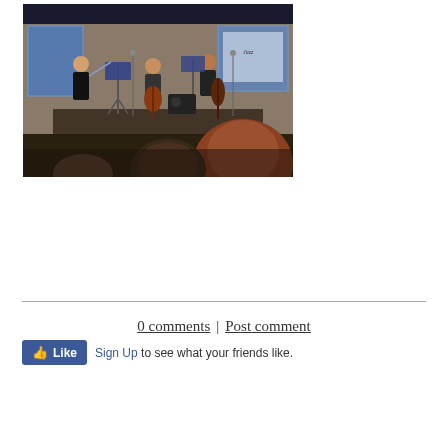[Figure (photo): Indoor musical performance scene. Several musicians on a small stage with music stands and instruments including a cello and double bass. Blue-lit windows in the background. Audience members visible in the foreground watching the performance.]
0 comments | Post comment
Sign Up to see what your friends like.